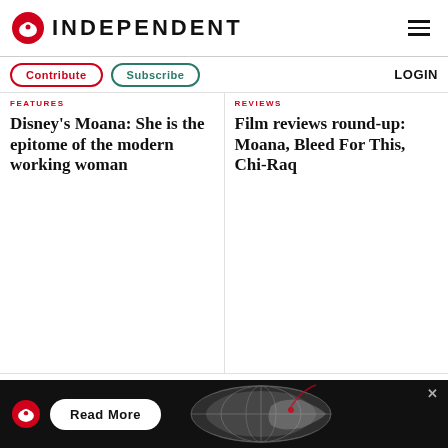INDEPENDENT
Contribute  Subscribe  LOGIN
Disney's Moana: She is the epitome of the modern working woman
Film reviews round-up: Moana, Bleed For This, Chi-Raq
[Figure (screenshot): Ad bar with Independent eagle logo, Read More button, and world map graphic on black background]